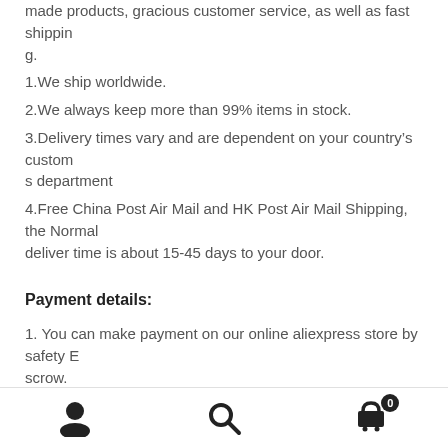made products, gracious customer service, as well as fast shipping.
1.We ship worldwide.
2.We always keep more than 99% items in stock.
3.Delivery times vary and are dependent on your country’s customs department
4.Free China Post Air Mail and HK Post Air Mail Shipping, the Normal deliver time is about 15-45 days to your door.
Payment details:
1. You can make payment on our online aliexpress store by safety Escrow.
Navigation bar with user, search, and cart icons